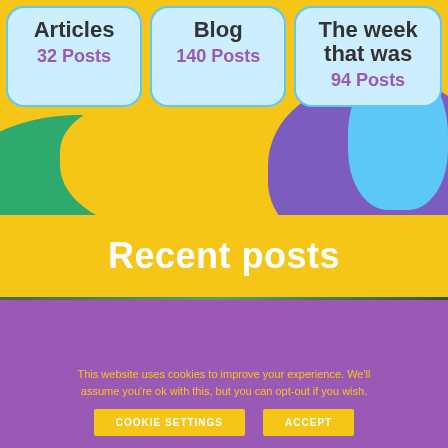Articles
32 Posts
Blog
140 Posts
The week that was
94 Posts
Recent posts
[Figure (photo): Blurred crowd of people wearing green jerseys at a sports event]
This website uses cookies to improve your experience. We'll assume you're ok with this, but you can opt-out if you wish.
COOKIE SETTINGS
ACCEPT